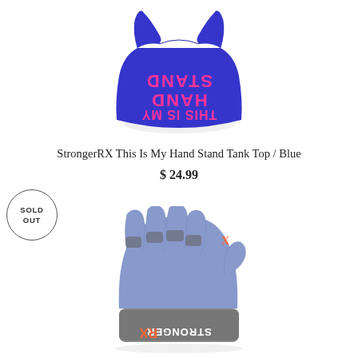[Figure (photo): Blue tank top with pink 'THIS IS MY HAND STAND' text printed upside down on the front]
StrongerRX This Is My Hand Stand Tank Top / Blue
$ 24.99
SOLD OUT
[Figure (photo): StrongerRX blue and grey workout gloves shown from the back with logo visible]